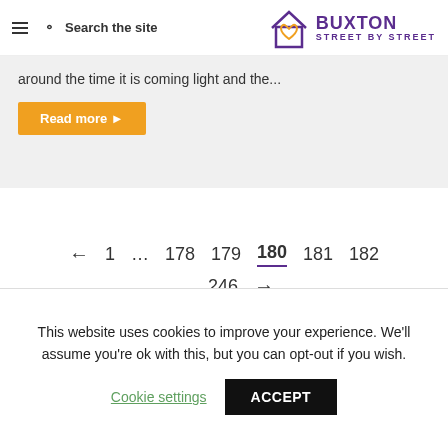Search the site | BUXTON STREET BY STREET
around the time it is coming light and the...
Read more ▶
← 1 … 178 179 180 181 182 … 246 →
This website uses cookies to improve your experience. We'll assume you're ok with this, but you can opt-out if you wish.
Cookie settings  ACCEPT